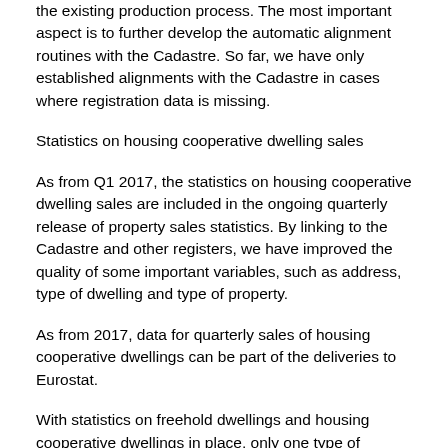the existing production process. The most important aspect is to further develop the automatic alignment routines with the Cadastre. So far, we have only established alignments with the Cadastre in cases where registration data is missing.
Statistics on housing cooperative dwelling sales
As from Q1 2017, the statistics on housing cooperative dwelling sales are included in the ongoing quarterly release of property sales statistics. By linking to the Cadastre and other registers, we have improved the quality of some important variables, such as address, type of dwelling and type of property.
As from 2017, data for quarterly sales of housing cooperative dwellings can be part of the deliveries to Eurostat.
With statistics on freehold dwellings and housing cooperative dwellings in place, only one type of ownership is missing in order to make the statistics on dwelling sales complete. This ownership form, dwellings owned through shares or bonds, constitutes around 2 per cent of the sold dwellings.
New and existing dwellings
By using registration data for both housing cooperative and freehold dwellings we will have a more comprehensive source for